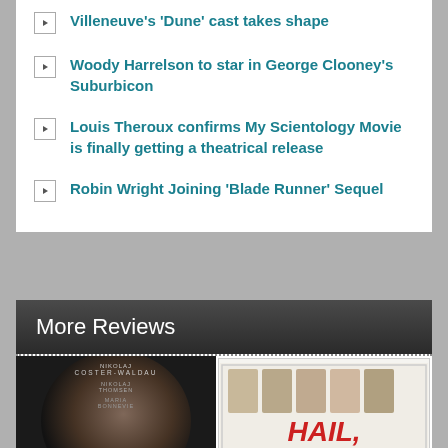Villeneuve's 'Dune' cast takes shape
Woody Harrelson to star in George Clooney's Suburbicon
Louis Theroux confirms My Scientology Movie is finally getting a theatrical release
Robin Wright Joining 'Blade Runner' Sequel
More Reviews
[Figure (photo): Movie poster for 'A Second Chance' directed by Susanne Bier, featuring actor Nikolaj Coster-Waldau with credits for Thomsen and Bonnevie]
[Figure (photo): Movie poster for 'Hail, Caesar!' showing multiple cast faces and the red title text]